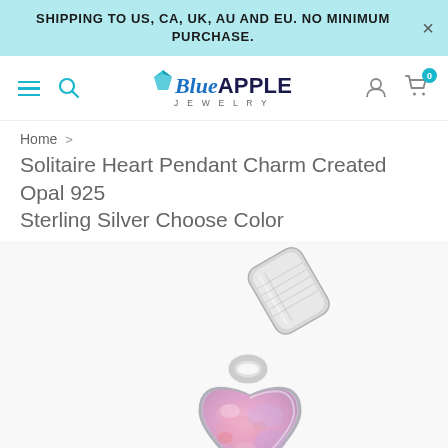SHIPPING TO US, CA, UK, AU AND EU. NO MINIMUM PURCHASE.
[Figure (logo): Blue Apple Jewelry logo with stylized text and gem icon]
Home > Solitaire Heart Pendant Charm Created Opal 925 Sterling Silver Choose Color
Solitaire Heart Pendant Charm Created Opal 925 Sterling Silver Choose Color
[Figure (photo): Close-up photo of a silver heart pendant charm with pink opal stone, showing the bail/loop at top and the heart-shaped pink opal body at bottom]